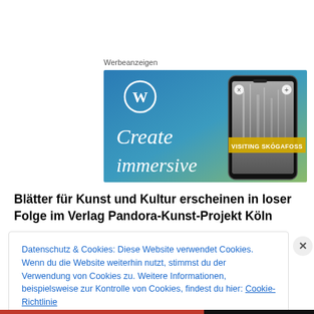Werbeanzeigen
[Figure (illustration): WordPress advertisement banner showing 'Create immersive' text with a smartphone displaying 'VISITING SKÓGAFOSS']
Blätter für Kunst und Kultur erscheinen in loser Folge im Verlag Pandora-Kunst-Projekt Köln
Datenschutz & Cookies: Diese Website verwendet Cookies. Wenn du die Website weiterhin nutzt, stimmst du der Verwendung von Cookies zu. Weitere Informationen, beispielsweise zur Kontrolle von Cookies, findest du hier: Cookie-Richtlinie
Schließen und Akzeptieren